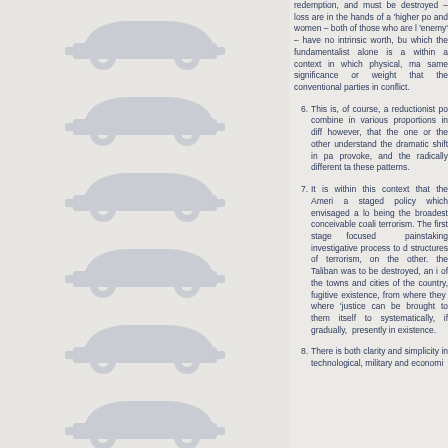[Figure (illustration): Left sidebar with repeating faint watermark/decorative car silhouette icons arranged vertically in a light gray column]
redemption, and must be destroyed – loss are in the hands of a 'higher po and women – both of those who are l 'enemy' – have no intrinsic worth, b which the fundamentalist alone is a within a context in which physical, m same significance or weight that th conventional parties in conflict.
6. This is, of course, a reductionist p combine in various proportions in dif however, that the one or the othe understand the dramatic shift in p provoke, and the radically different t these patterns.
7. It is within this context that the Ame a staged policy which envisaged a l being the broadest conceivable coal terrorism. The first stage focused painstaking investigative process to structures of terrorism, on the othe the Taliban was to be destroyed, an of the towns and cities of the countr fugitive existence, from where they where 'justice can be brought to the itself to systematically, if gradually, presently in existence.
8. There is both clarity and simplicity i technological, military and econom